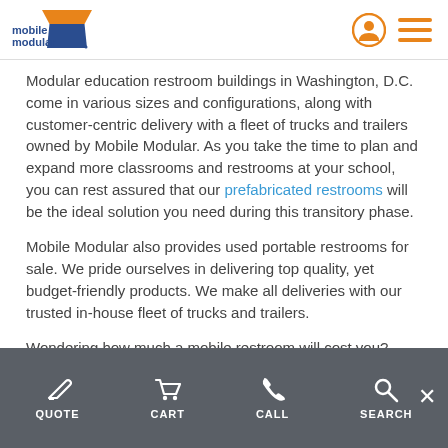mobile modular
Modular education restroom buildings in Washington, D.C. come in various sizes and configurations, along with customer-centric delivery with a fleet of trucks and trailers owned by Mobile Modular. As you take the time to plan and expand more classrooms and restrooms at your school, you can rest assured that our prefabricated restrooms will be the ideal solution you need during this transitory phase.
Mobile Modular also provides used portable restrooms for sale. We pride ourselves in delivering top quality, yet budget-friendly products. We make all deliveries with our trusted in-house fleet of trucks and trailers.
Wondering how much a mobile restroom will cost you? Request a
QUOTE  CART  CALL  SEARCH